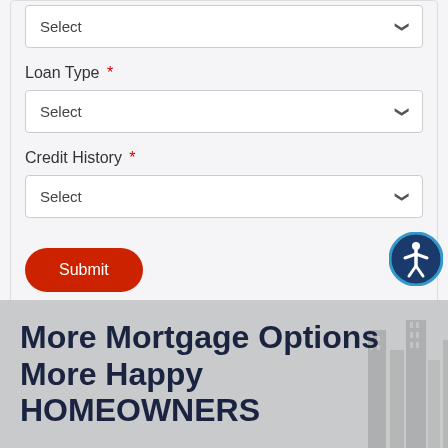Select (dropdown for top field)
Loan Type *
Select
Credit History *
Select
Submit
More Mortgage Options More Happy HOMEOWNERS